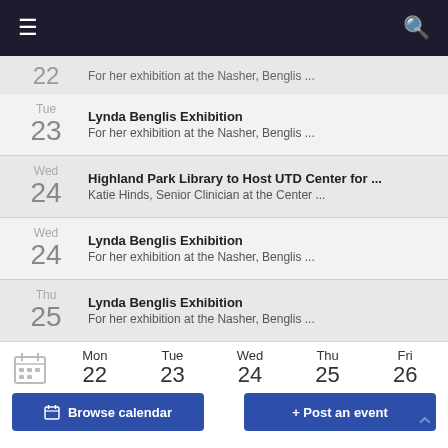Navigation header with menu and search icons
22 — For her exhibition at the Nasher, Benglis ...
Tue 23 — Lynda Benglis Exhibition — For her exhibition at the Nasher, Benglis ...
Wed 24 — Highland Park Library to Host UTD Center for ... — Katie Hinds, Senior Clinician at the Center ...
Wed 24 — Lynda Benglis Exhibition — For her exhibition at the Nasher, Benglis ...
Thu 25 — Lynda Benglis Exhibition — For her exhibition at the Nasher, Benglis ...
[Figure (other): Calendar navigation row showing Mon 22, Tue 23, Wed 24, Thu 25, Fri 26 with calendar icon]
Browse calendar   + Post an event